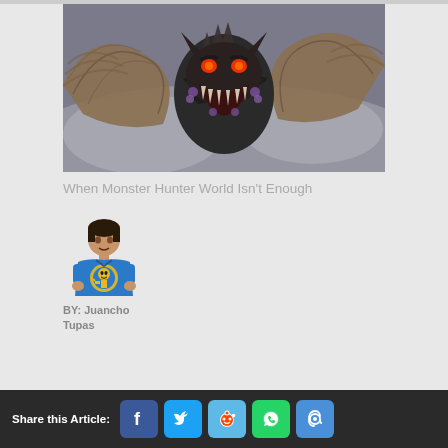[Figure (photo): A large dragon/monster creature with wings spread wide, dark scales, glowing eyes, and an open roaring mouth — Monster Hunter World game artwork]
When Monster Hunter World Isn't Enough
[Figure (photo): Author photo: a man wearing a blue Vault Boy (Fallout) t-shirt, standing indoors]
BY: Juancho Tupas
Share this Article: